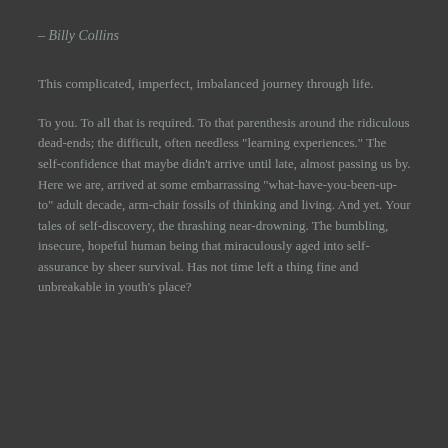– Billy Collins
This complicated, imperfect, imbalanced journey through life.
To you. To all that is required. To that parenthesis around the ridiculous dead-ends; the difficult, often needless "learning experiences." The self-confidence that maybe didn't arrive until late, almost passing us by. Here we are, arrived at some embarrassing "what-have-you-been-up-to" adult decade, arm-chair fossils of thinking and living. And yet. Your tales of self-discovery, the thrashing near-drowning. The bumbling, insecure, hopeful human being that miraculously aged into self-assurance by sheer survival. Has not time left a thing fine and unbreakable in youth's place?